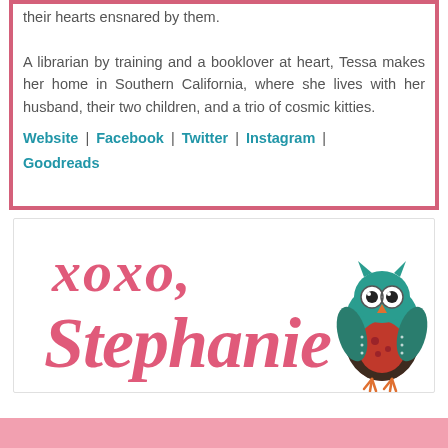their hearts ensnared by them.

A librarian by training and a booklover at heart, Tessa makes her home in Southern California, where she lives with her husband, their two children, and a trio of cosmic kitties.
Website | Facebook | Twitter | Instagram | Goodreads
[Figure (illustration): Cursive signature reading 'xoxo, Stephanie' in pink script with a cartoon owl illustration to the right]